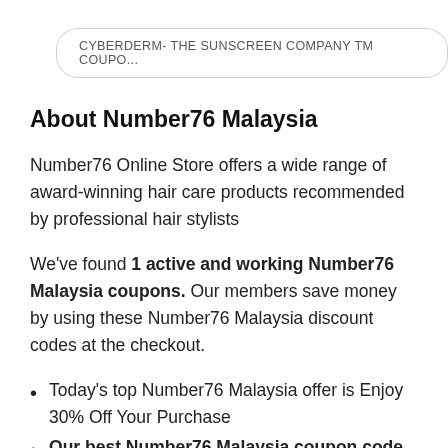CYBERDERM- THE SUNSCREEN COMPANY TM COUPO...
About Number76 Malaysia
Number76 Online Store offers a wide range of award-winning hair care products recommended by professional hair stylists
We've found 1 active and working Number76 Malaysia coupons. Our members save money by using these Number76 Malaysia discount codes at the checkout.
Today's top Number76 Malaysia offer is Enjoy 30% Off Your Purchase
Our best Number76 Malaysia coupon code will